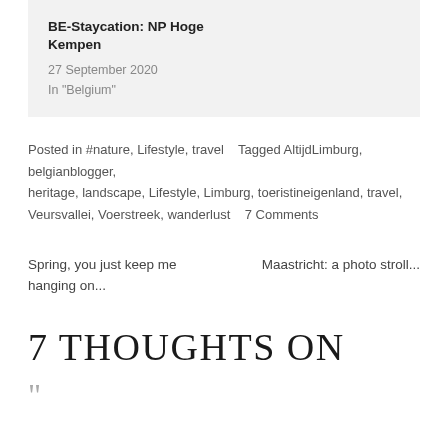BE-Staycation: NP Hoge Kempen
27 September 2020
In "Belgium"
Posted in #nature, Lifestyle, travel    Tagged AltijdLimburg, belgianblogger, heritage, landscape, Lifestyle, Limburg, toeristineigenland, travel, Veursvallei, Voerstreek, wanderlust    7 Comments
Spring, you just keep me hanging on...
Maastricht: a photo stroll...
7 THOUGHTS ON